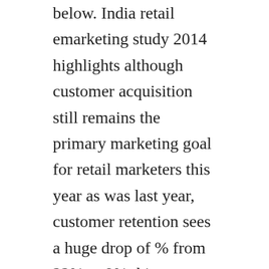below. India retail emarketing study 2014 highlights although customer acquisition still remains the primary marketing goal for retail marketers this year as was last year, customer retention sees a huge drop of % from 22% to 9% this year. Modello e istruzioni per il rimborso del canone rai non. Haven the hospital walkthrough, comments and more free. Cheb nadir chkon kan ygol live au zig mag 2015 exclu. The company is a network operator of the rai group. Aalto is a new kind of societally embedded research university aalto innovation ecosystem as case example